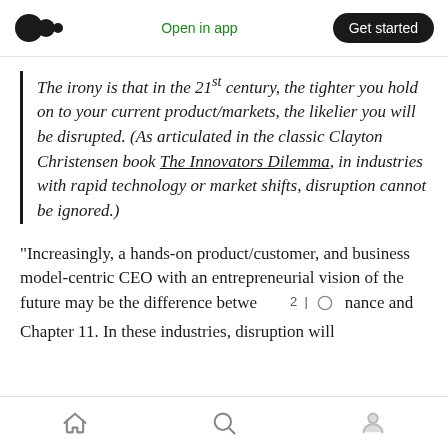Open in app | Get started
The irony is that in the 21st century, the tighter you hold on to your current product/markets, the likelier you will be disrupted. (As articulated in the classic Clayton Christensen book The Innovators Dilemma, in industries with rapid technology or market shifts, disruption cannot be ignored.)
“Increasingly, a hands-on product/customer, and business model-centric CEO with an entrepreneurial vision of the future may be the difference betwe❝ 2 | ◯ nance and Chapter 11. In these industries, disruption will
Home | Search | Profile